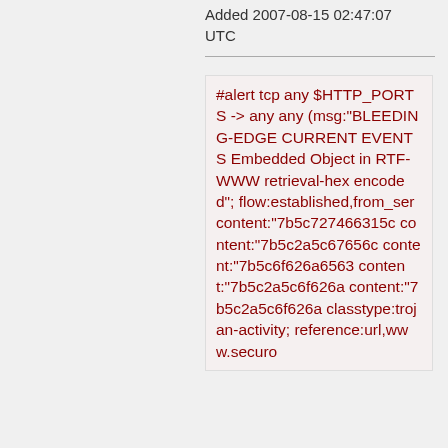Added 2007-08-15 02:47:07 UTC
#alert tcp any $HTTP_PORTS -> any any (msg:"BLEEDING-EDGE CURRENT EVENTS Embedded Object in RTF-WWW retrieval-hex encoded"; flow:established,from_ser content:"7b5c727466315c content:"7b5c2a5c67656c content:"7b5c6f626a6563 content:"7b5c2a5c6f626a content:"7b5c2a5c6f626a classtype:trojan-activity; reference:url,www.securo